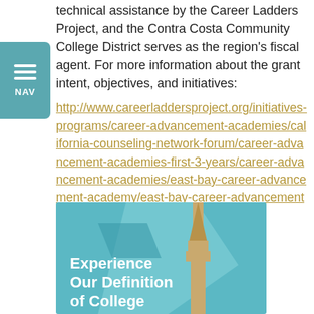technical assistance by the Career Ladders Project, and the Contra Costa Community College District serves as the region's fiscal agent. For more information about the grant intent, objectives, and initiatives:
http://www.careerladdersproject.org/initiatives-programs/career-advancement-academies/california-counseling-network-forum/career-advancement-academies-first-3-years/career-advancement-academies/east-bay-career-advancement-academy/east-bay-career-advancement-academy-program-overview/
[Figure (illustration): Promotional image with teal background showing a building/church spire silhouette and geometric shapes, with bold white text reading 'Experience Our Definition of College']